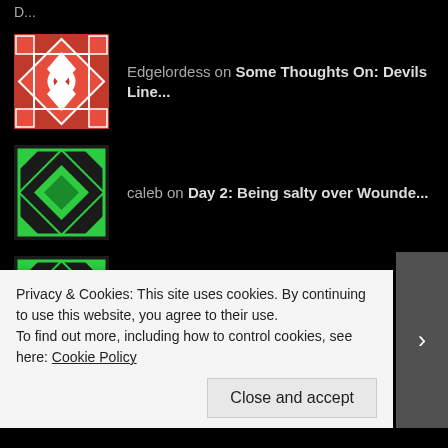D...
Edgelordess on Some Thoughts On: Devils Line...
caleb on Day 2: Being salty over Wounde...
caleb on Some Thoughts On: Hinamatsuri...
ARCHIVES
December 2018
Privacy & Cookies: This site uses cookies. By continuing to use this website, you agree to their use.
To find out more, including how to control cookies, see here: Cookie Policy
Close and accept